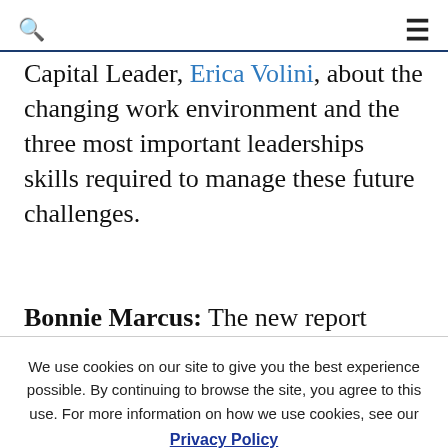🔍 ≡
Capital Leader, Erica Volini, about the changing work environment and the three most important leaderships skills required to manage these future challenges.
Bonnie Marcus: The new report addresses how organizations now need a new type of
We use cookies on our site to give you the best experience possible. By continuing to browse the site, you agree to this use. For more information on how we use cookies, see our Privacy Policy Continue